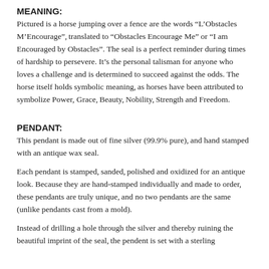MEANING:
Pictured is a horse jumping over a fence are the words “L’Obstacles M’Encourage”, translated to “Obstacles Encourage Me” or “I am Encouraged by Obstacles”. The seal is a perfect reminder during times of hardship to persevere. It’s the personal talisman for anyone who loves a challenge and is determined to succeed against the odds. The horse itself holds symbolic meaning, as horses have been attributed to symbolize Power, Grace, Beauty, Nobility, Strength and Freedom.
PENDANT:
This pendant is made out of fine silver (99.9% pure), and hand stamped with an antique wax seal.
Each pendant is stamped, sanded, polished and oxidized for an antique look. Because they are hand-stamped individually and made to order, these pendants are truly unique, and no two pendants are the same (unlike pendants cast from a mold).
Instead of drilling a hole through the silver and thereby ruining the beautiful imprint of the seal, the pendent is set with a sterling